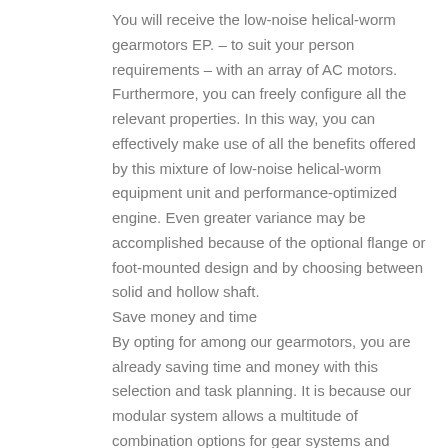You will receive the low-noise helical-worm gearmotors EP. – to suit your person requirements – with an array of AC motors. Furthermore, you can freely configure all the relevant properties. In this way, you can effectively make use of all the benefits offered by this mixture of low-noise helical-worm equipment unit and performance-optimized engine. Even greater variance may be accomplished because of the optional flange or foot-mounted design and by choosing between solid and hollow shaft.
Save money and time
By opting for among our gearmotors, you are already saving time and money with this selection and task planning. It is because our modular system allows a multitude of combination options for gear systems and motors. You can consequently reduce operating costs, count on a long service life and reap the benefits of simplified maintenance that is feature of our brand.